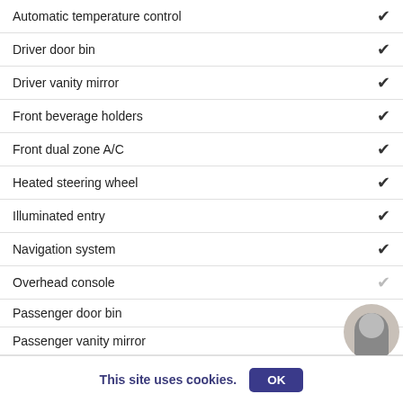| Feature | Available |
| --- | --- |
| Automatic temperature control | ✔ |
| Driver door bin | ✔ |
| Driver vanity mirror | ✔ |
| Front beverage holders | ✔ |
| Front dual zone A/C | ✔ |
| Heated steering wheel | ✔ |
| Illuminated entry | ✔ |
| Navigation system | ✔ |
| Overhead console | ✔ (gray) |
| Passenger door bin |  |
| Passenger vanity mirror |  |
| Power moonroof | ✔ (gray) |
| Power windows |  |
| Rear beverage holders | ✔ (gray) |
| Rear door bins | ✔ |
| Remote keyless entry | ✔ |
| Speed control | ✔ |
[Figure (screenshot): Popup modal: 'SEE A VEHICLE YOU LIKE? Let's save money on your next pre-owned vehicle.' with 'ASK US HOW' button in dark red/maroon pill shape.]
[Figure (photo): Circular avatar photo of a woman in a black blazer.]
This site uses cookies.
OK